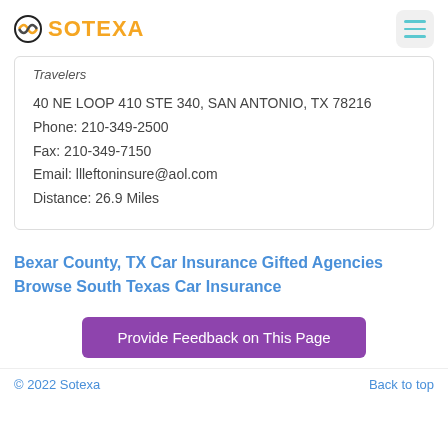SOTEXA
Travelers
40 NE LOOP 410 STE 340, SAN ANTONIO, TX 78216
Phone: 210-349-2500
Fax: 210-349-7150
Email: llleftoninsure@aol.com
Distance: 26.9 Miles
Bexar County, TX Car Insurance Gifted Agencies
Browse South Texas Car Insurance
Provide Feedback on This Page
© 2022 Sotexa    Back to top